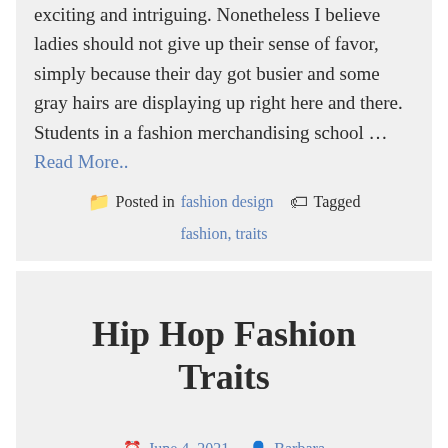exciting and intriguing. Nonetheless I believe ladies should not give up their sense of favor, simply because their day got busier and some gray hairs are displaying up right here and there. Students in a fashion merchandising school … Read More..
Posted in fashion design   Tagged fashion, traits
Hip Hop Fashion Traits
June 4, 2021   Barbara